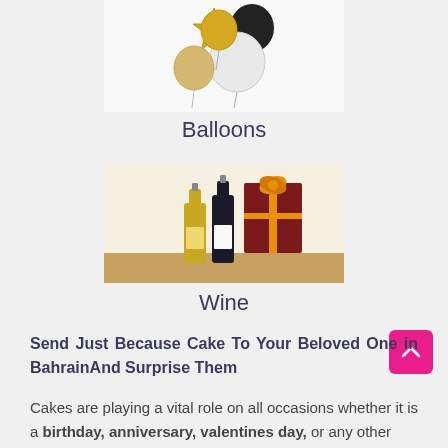[Figure (photo): Gold star mylar balloon, black round balloon, white round balloon, and champagne/beige round balloons arranged in a bunch against a white background]
Balloons
[Figure (photo): Two wine bottles (one gold/yellow, one dark) standing next to a maroon gift box with an orange ribbon bow, on a wooden surface with cream background]
Wine
Send Just Because Cake To Your Beloved One in BahrainAnd Surprise Them
Cakes are playing a vital role on all occasions whether it is a birthday, anniversary, valentines day, or any other